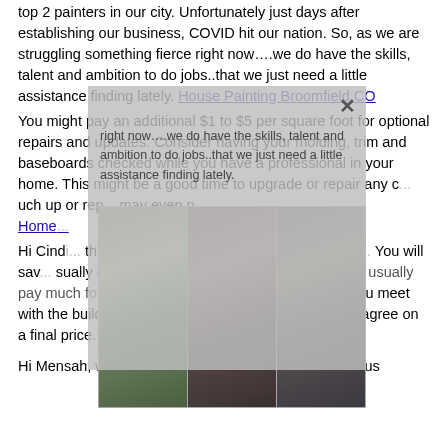top 2 painters in our city. Unfortunately just days after establishing our business, COVID hit our nation. So, as we are struggling something fierce right now….we do have the skills, talent and ambition to do jobs..that we just need a little assistance finding lately. House Painting Broomfield CO
You might pay an additional $1 to $5 per square foot for optional repairs and updates. Consider having your molding, trim and baseboards checked while you have a professional in your home. This might be a good time to upgrade or repair any c... uch up or rep... may even p... Home...
[Figure (photo): Three photos side by side showing house painting scenes with ladders, partially obscured by a gray overlay with an X close button]
Hi Cindi... thing is caulked... hen doing n... on new co... You will sav... sually only 10-15% state job cost. Builders more usually pay much for house painting, so it is recommended you meet with the builder or construction company in person to agree on a final price.
Hi Mensah, we see all ranges of pricing for exterior hous...